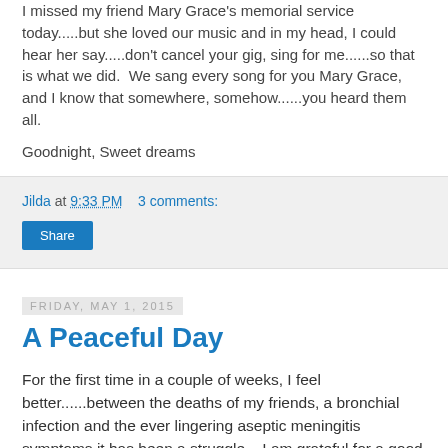I missed my friend Mary Grace's memorial service today.....but she loved our music and in my head, I could hear her say.....don't cancel your gig, sing for me......so that is what we did.  We sang every song for you Mary Grace, and I know that somewhere, somehow......you heard them all.
Goodnight, Sweet dreams
Jilda at 9:33 PM    3 comments:
Share
Friday, May 1, 2015
A Peaceful Day
For the first time in a couple of weeks, I feel better......between the deaths of my friends, a bronchial infection and the ever lingering aseptic meningitis symptoms it has been a struggle.   I am grateful for a good day.